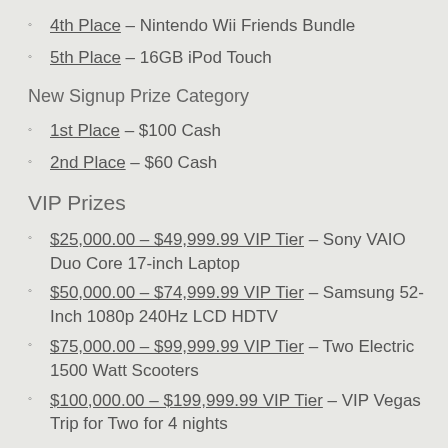4th Place – Nintendo Wii Friends Bundle
5th Place – 16GB iPod Touch
New Signup Prize Category
1st Place – $100 Cash
2nd Place – $60 Cash
VIP Prizes
$25,000.00 – $49,999.99 VIP Tier – Sony VAIO Duo Core 17-inch Laptop
$50,000.00 – $74,999.99 VIP Tier – Samsung 52-Inch 1080p 240Hz LCD HDTV
$75,000.00 – $99,999.99 VIP Tier – Two Electric 1500 Watt Scooters
$100,000.00 – $199,999.99 VIP Tier – VIP Vegas Trip for Two for 4 nights